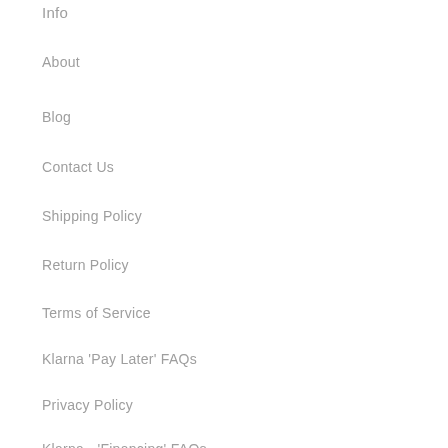Info
About
Blog
Contact Us
Shipping Policy
Return Policy
Terms of Service
Klarna 'Pay Later' FAQs
Privacy Policy
Klarna - 'Financing' FAQs